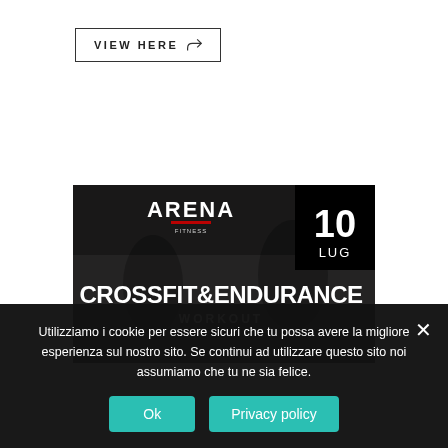VIEW HERE
[Figure (screenshot): Arena fitness event promotional image for CrossFit & Endurance Workout, dated 10 LUG (July 10). Dark background with gym/workout imagery. Arena logo in red and white at top. Large bold white text: CROSSFIT&ENDURANCE WORKOUT. Date '10 LUG' in black box top-right.]
Utilizziamo i cookie per essere sicuri che tu possa avere la migliore esperienza sul nostro sito. Se continui ad utilizzare questo sito noi assumiamo che tu ne sia felice.
Ok
Privacy policy